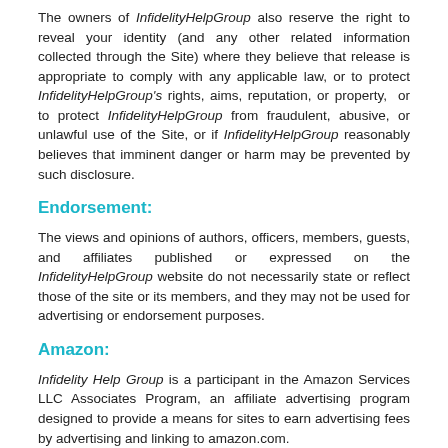The owners of InfidelityHelpGroup also reserve the right to reveal your identity (and any other related information collected through the Site) where they believe that release is appropriate to comply with any applicable law, or to protect InfidelityHelpGroup's rights, aims, reputation, or property,  or to protect InfidelityHelpGroup from fraudulent, abusive, or unlawful use of the Site, or if InfidelityHelpGroup reasonably believes that imminent danger or harm may be prevented by such disclosure.
Endorsement:
The views and opinions of authors, officers, members, guests, and affiliates published or expressed on the InfidelityHelpGroup website do not necessarily state or reflect those of the site or its members, and they may not be used for advertising or endorsement purposes.
Amazon:
Infidelity Help Group is a participant in the Amazon Services LLC Associates Program, an affiliate advertising program designed to provide a means for sites to earn advertising fees by advertising and linking to amazon.com.
Liability:
InfidelityHelpGroup does not warrant, guarantee, or assume any legal